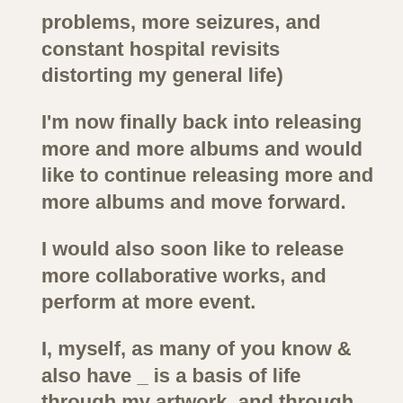problems, more seizures, and constant hospital revisits distorting my general life)
I'm now finally back into releasing more and more albums and would like to continue releasing more and more albums and move forward.
I would also soon like to release more collaborative works, and perform at more event.
I, myself, as many of you know & also have _ is a basis of life through my artwork, and through many different forms of art. My main basis being Sound and Performance art. But also work in Painting, Sculpture